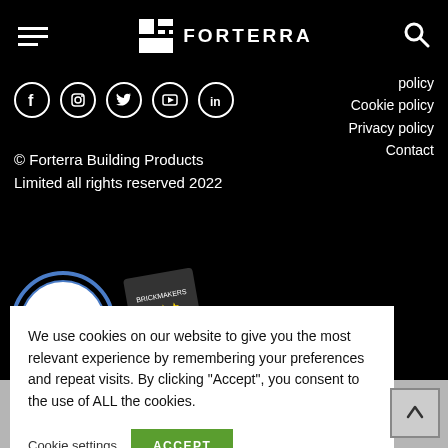FORTERRA
Social media icons: Facebook, Instagram, Twitter, YouTube, LinkedIn
policy
Cookie policy
Privacy policy
Contact
© Forterra Building Products Limited all rights reserved 2022
[Figure (photo): ISO Information Security Management badge and Brickmakers 3-star award badge]
We use cookies on our website to give you the most relevant experience by remembering your preferences and repeat visits. By clicking “Accept”, you consent to the use of ALL the cookies.
Cookie settings   ACCEPT